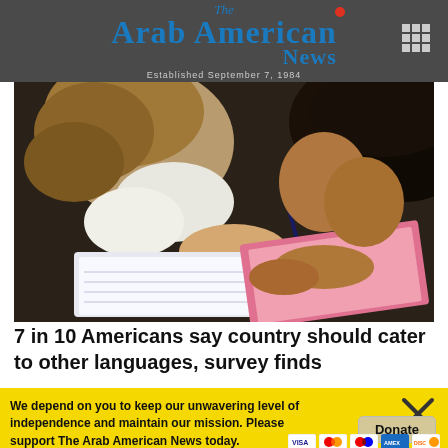The Arab American News — Established September 7, 1984
[Figure (photo): Two children leaning over books/workbooks, writing with a pen, seen from above — educational setting.]
7 in 10 Americans say country should cater to other languages, survey finds
We depend on you to keep our unwavering level of independence and maintain our mission. Please support The Arab American News today.